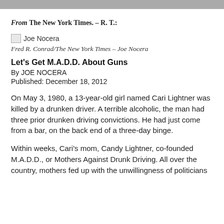[Figure (photo): Gray banner/image bar at top of page]
From The New York Times. – R. T.:
[Figure (photo): Small broken image icon followed by text 'Joe Nocera']
Fred R. Conrad/The New York Times – Joe Nocera
Let's Get M.A.D.D. About Guns
By JOE NOCERA
Published: December 18, 2012
On May 3, 1980, a 13-year-old girl named Cari Lightner was killed by a drunken driver. A terrible alcoholic, the man had three prior drunken driving convictions. He had just come from a bar, on the back end of a three-day binge.
Within weeks, Cari's mom, Candy Lightner, co-founded M.A.D.D., or Mothers Against Drunk Driving. All over the country, mothers fed up with the unwillingness of politicians